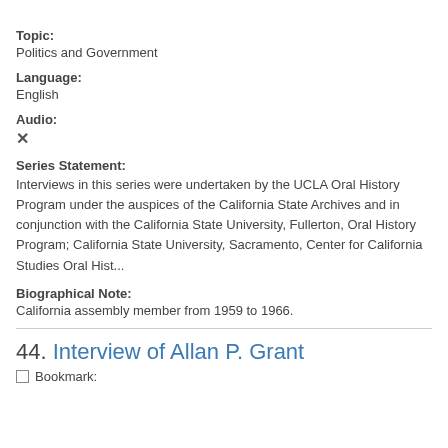Topic:
Politics and Government
Language:
English
Audio:
✗
Series Statement:
Interviews in this series were undertaken by the UCLA Oral History Program under the auspices of the California State Archives and in conjunction with the California State University, Fullerton, Oral History Program; California State University, Sacramento, Center for California Studies Oral Hist...
Biographical Note:
California assembly member from 1959 to 1966.
44. Interview of Allan P. Grant
Bookmark: